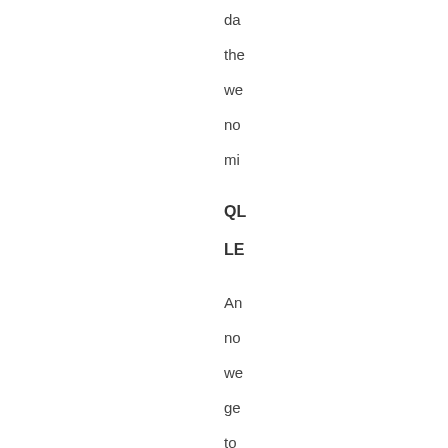da
the
we
no
mi
QU
LE
An
no
we
ge
to
the
rea
ma
"M